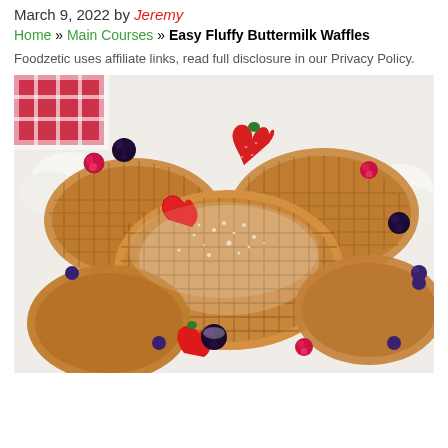March 9, 2022 by Jeremy
Home » Main Courses » Easy Fluffy Buttermilk Waffles
Foodzetic uses affiliate links, read full disclosure in our Privacy Policy.
[Figure (photo): Stack of fluffy buttermilk waffles topped with mixed berries (strawberries, raspberries, blackberries, blueberries), powdered sugar, and whipped cream on a white plate. Red and white checkered napkin visible in top left corner.]